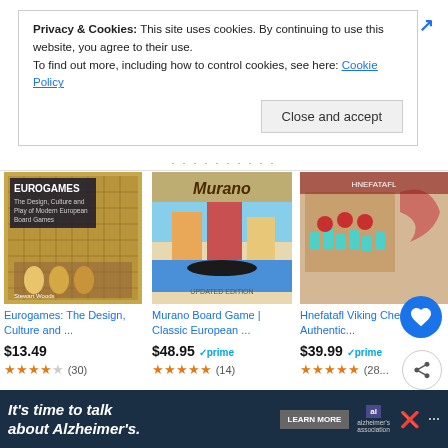Privacy & Cookies: This site uses cookies. By continuing to use this website, you agree to their use.
To find out more, including how to control cookies, see here: Cookie Policy
Close and accept
[Figure (screenshot): Cookie consent banner with close and accept button]
Eurogames: The Design, Culture and ...
$13.49
★★★★☆ (30)
Murano Board Game | Classic European ...
$48.95 ✓prime
★★★★★ (14)
Hnefatafl Viking Chess Set - Authentic...
$39.99 ✓prime
★★★★★ (28...
Ads by Amazon
It's time to talk about Alzheimer's.